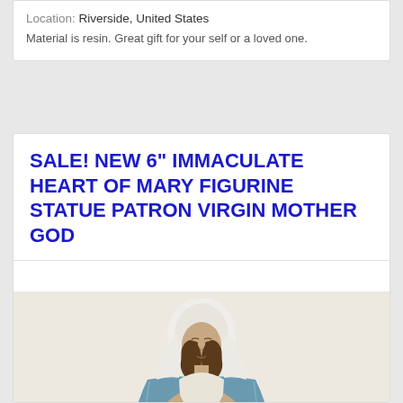Location: Riverside, United States
Material is resin. Great gift for your self or a loved one.
SALE! NEW 6" IMMACULATE HEART OF MARY FIGURINE STATUE PATRON VIRGIN MOTHER GOD
[Figure (photo): A resin figurine statue of the Immaculate Heart of Mary / Virgin Mother, depicted in white robes with a blue mantle, hands crossed over her heart, with a golden sacred heart emblem on her chest. The figure stands on a light beige/cream background.]